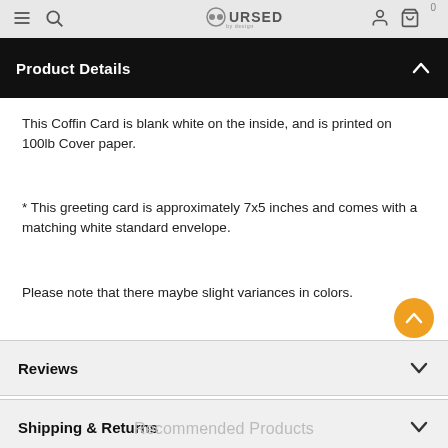CURSED by design
Product Details
This Coffin Card is blank white on the inside, and is printed on 100lb Cover paper.
* This greeting card is approximately 7x5 inches and comes with a matching white standard envelope.
Please note that there maybe slight variances in colors.
Reviews
Shipping & Returns
Recommended Products